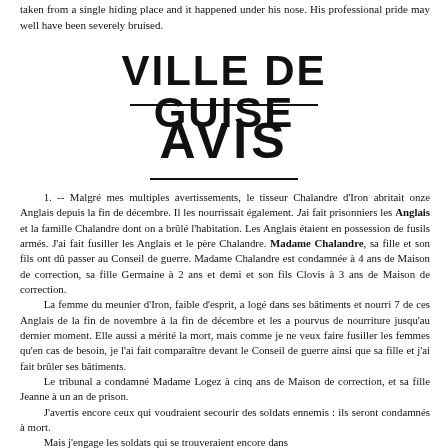taken from a single hiding place and it happened under his nose. His professional pride may well have been severely bruised.
VILLE DE GUISE
AVIS
1. -- Malgré mes multiples avertissements, le tisseur Chalandre d'Iron abritait onze Anglais depuis la fin de décembre. Il les nourrissait également. J'ai fait prisonniers les Anglais et la famille Chalandre dont on a brûlé l'habitation. Les Anglais étaient en possession de fusils armés. J'ai fait fusiller les Anglais et le père Chalandre. Madame Chalandre, sa fille et son fils ont dû passer au Conseil de guerre. Madame Chalandre est condamnée à 4 ans de Maison de correction, sa fille Germaine à 2 ans et demi et son fils Clovis à 3 ans de Maison de correction. La femme du meunier d'Iron, faible d'esprit, a logé dans ses bâtiments et nourri 7 de ces Anglais de la fin de novembre à la fin de décembre et les a pourvus de nourriture jusqu'au dernier moment. Elle aussi a mérité la mort, mais comme je ne veux faire fusiller les femmes qu'en cas de besoin, je l'ai fait comparaître devant le Conseil de guerre ainsi que sa fille et j'ai fait brûler ses bâtiments. Le tribunal a condamné Madame Logez à cinq ans de Maison de correction, et sa fille Jeanne à un an de prison. J'avertis encore ceux qui voudraient secourir des soldats ennemis : ils seront condamnés à mort. Mais j'engage les soldats qui se trouveraient encore dans...